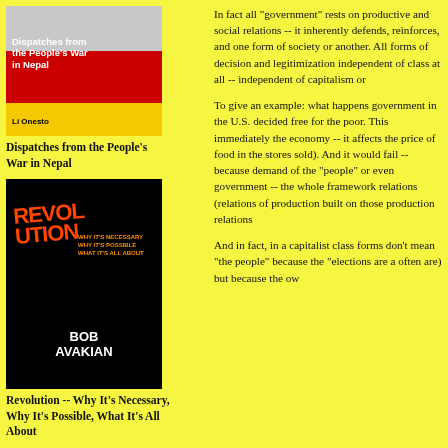[Figure (photo): Book cover: Dispatches from the People's War in Nepal by Li Onesto. Red and yellow cover with photo at top.]
Dispatches from the People's War in Nepal
[Figure (photo): Book cover: Revolution -- Why It's Necessary, Why It's Possible, What It's All About by Bob Avakian. Black cover with orange/red text.]
Revolution -- Why It's Necessary, Why It's Possible, What It's All About
[Figure (photo): Book cover: Pox Americana by John Bellamy Foster. Dark cover with military imagery.]
John Bellamy Foster: Pox
In fact all "government" rests on productive and social relations -- it inherently defends, reinforces, and one form of society or another. All forms of decision and legitimization independent of class at all -- independent of capitalism or
To give an example: what happens government in the U.S. decided free for the poor. This immediately the economy -- it affects the price of food in the stores sold). And it would fail -- because demand of the "people" or even government -- the whole framework relations (relations of production built on those production relations
And in fact, in a capitalist class forms don't mean "the people" because the "elections are a often are) but because the ownership influences and shapes the